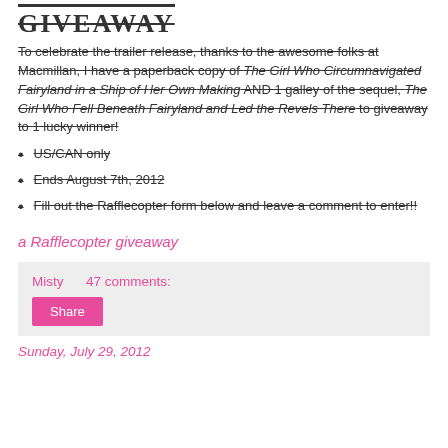GIVEAWAY
To celebrate the trailer release, thanks to the awesome folks at Macmillan, I have a paperback copy of The Girl Who Circumnavigated Fairyland in a Ship of Her Own Making AND 1 galley of the sequel, The Girl Who Fell Beneath Fairyland and Led the Revels There to giveaway to 1 lucky winner!
US/CAN only
Ends August 7th, 2012
Fill out the Rafflecopter form below and leave a comment to enter!!
a Rafflecopter giveaway
Misty    47 comments:
Share
Sunday, July 29, 2012